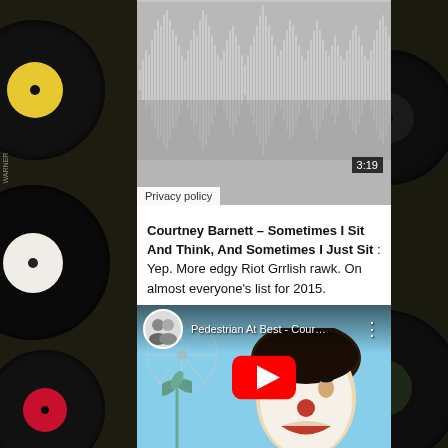[Figure (screenshot): Audio player/waveform widget with gray waveform visualization and timestamp 3:19, with a Privacy policy label in the lower left]
Courtney Barnett – Sometimes I Sit And Think, And Sometimes I Just Sit : Yep. More edgy Riot Grrlish rawk. On almost everyone's list for 2015.
[Figure (screenshot): YouTube video embed showing 'Pedestrian At Best - Cour...' with a thumbnail of a person in clown makeup against a blue sky background, with a red YouTube play button in the center]